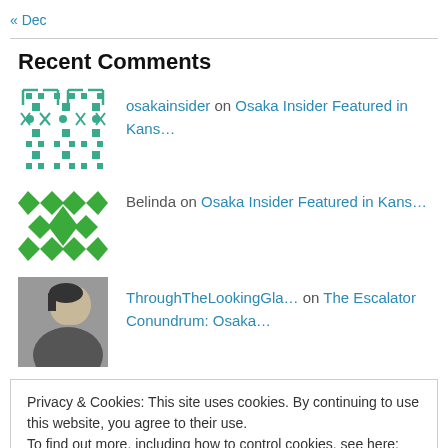« Dec
Recent Comments
osakainsider on Osaka Insider Featured in Kans…
Belinda on Osaka Insider Featured in Kans…
ThroughTheLookingGla… on The Escalator Conundrum: Osaka…
Privacy & Cookies: This site uses cookies. By continuing to use this website, you agree to their use. To find out more, including how to control cookies, see here: Cookie Policy
Close and accept
Blogroll